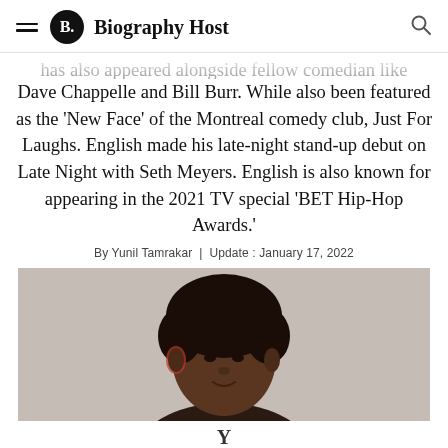Biography Host
… has also appeared alongside fellow comedian like Dave Chappelle and Bill Burr. While also been featured as the 'New Face' of the Montreal comedy club, Just For Laughs. English made his late-night stand-up debut on Late Night with Seth Meyers. English is also known for appearing in the 2021 TV special 'BET Hip-Hop Awards.'
By Yunil Tamrakar  |  Update : January 17, 2022
[Figure (photo): Portrait photo of a man with curly hair against a light grey background, cropped at the mid-forehead level showing face and upper body.]